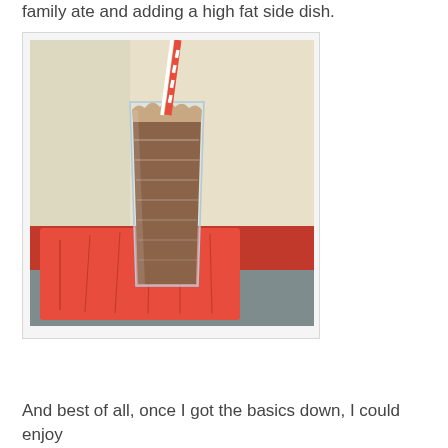family ate and adding a high fat side dish.
[Figure (photo): A tall clear glass filled with a chocolate-colored smoothie or milkshake, with a red and white striped straw, sitting on a red cloth napkin on a counter, against a light beige wall background.]
And best of all, once I got the basics down, I could enjoy